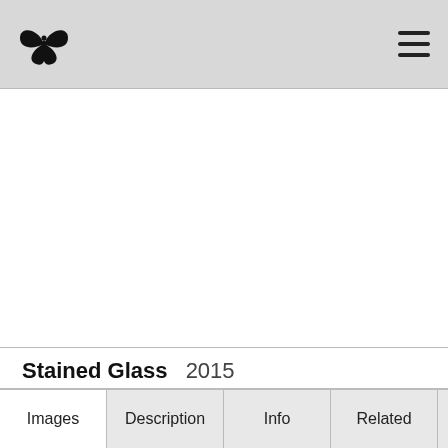Stained Glass — artwork page header with butterfly logo and hamburger menu
[Figure (photo): Large white/blank image area for artwork display — Stained Glass 2015]
Stained Glass  2015
Re-imagined stained glass window.
Images | Description | Info | Related